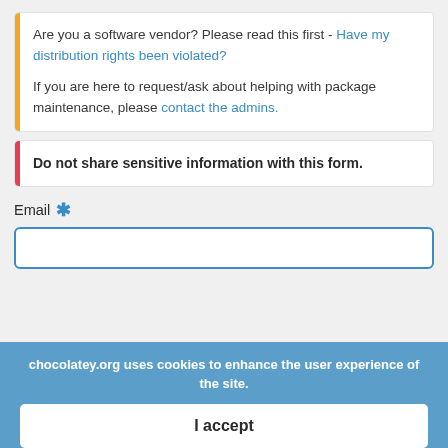Are you a software vendor? Please read this first - Have my distribution rights been violated?

If you are here to request/ask about helping with package maintenance, please contact the admins.
Do not share sensitive information with this form.
Email *
chocolatey.org uses cookies to enhance the user experience of the site.
I accept